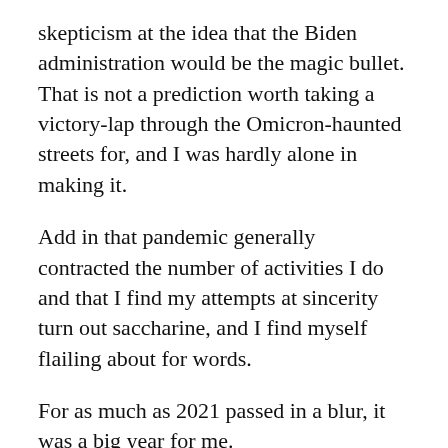skepticism at the idea that the Biden administration would be the magic bullet. That is not a prediction worth taking a victory-lap through the Omicron-haunted streets for, and I was hardly alone in making it.
Add in that pandemic generally contracted the number of activities I do and that I find my attempts at sincerity turn out saccharine, and I find myself flailing about for words.
For as much as 2021 passed in a blur, it was a big year for me.
I started a new job. I moved into a house in a new city. I took major steps toward publishing my first book. I accepted several positions within academic organizations. I started to travel a little bit again. While ultimately prematurely, these